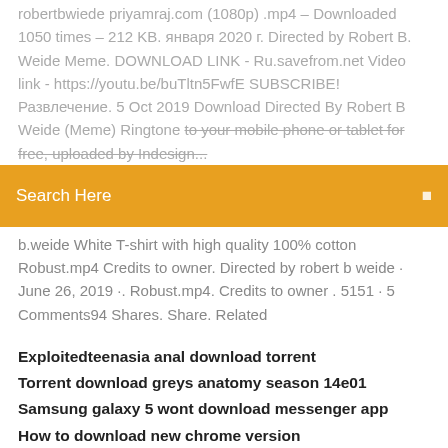robertbwiede priyamraj.com (1080p) .mp4 – Downloaded 1050 times – 212 KB. января 2020 г. Directed by Robert B. Weide Meme. DOWNLOAD LINK - Ru.savefrom.net Video link - https://youtu.be/buTltn5FwfE SUBSCRIBE! Развлечение. 5 Oct 2019 Download Directed By Robert B Weide (Meme) Ringtone to your mobile phone or tablet for free, uploaded by Indesign...
Search Here
b.weide White T-shirt with high quality 100% cotton Robust.mp4 Credits to owner. Directed by robert b weide · June 26, 2019 ·. Robust.mp4. Credits to owner . 5151 · 5 Comments94 Shares. Share. Related
Exploitedteenasia anal download torrent
Torrent download greys anatomy season 14e01
Samsung galaxy 5 wont download messenger app
How to download new chrome version
Downloading audbile for pc